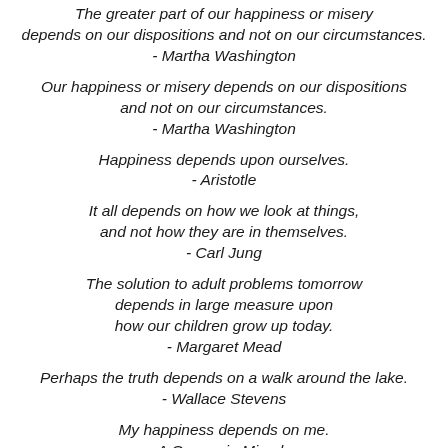The greater part of our happiness or misery depends on our dispositions and not on our circumstances. - Martha Washington
Our happiness or misery depends on our dispositions and not on our circumstances. - Martha Washington
Happiness depends upon ourselves. - Aristotle
It all depends on how we look at things, and not how they are in themselves. - Carl Jung
The solution to adult problems tomorrow depends in large measure upon how our children grow up today. - Margaret Mead
Perhaps the truth depends on a walk around the lake. - Wallace Stevens
My happiness depends on me. - A Course in Miracles
All that is valuable in human society